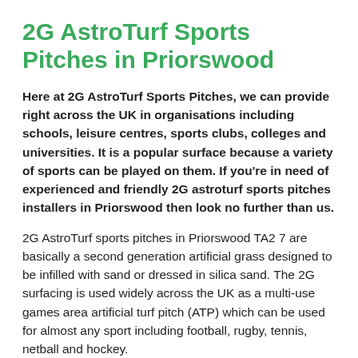2G AstroTurf Sports Pitches in Priorswood
Here at 2G AstroTurf Sports Pitches, we can provide right across the UK in organisations including schools, leisure centres, sports clubs, colleges and universities. It is a popular surface because a variety of sports can be played on them. If you're in need of experienced and friendly 2G astroturf sports pitches installers in Priorswood then look no further than us.
2G AstroTurf sports pitches in Priorswood TA2 7 are basically a second generation artificial grass designed to be infilled with sand or dressed in silica sand. The 2G surfacing is used widely across the UK as a multi-use games area artificial turf pitch (ATP) which can be used for almost any sport including football, rugby, tennis, netball and hockey.
The carpet is made up of vertical fibres and yarns of synthetic turf filled or dressed in the sand creating usual pile height of about 22-24 mm high. Although this surface is ideal for the use of hockey, it